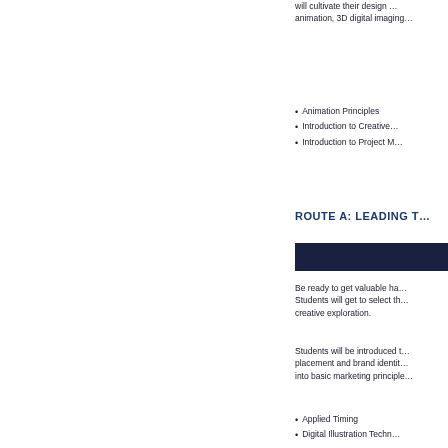will cultivate their design ... animation, 3D digital imaging...
Animation Principles
Introduction to Creative...
Introduction to Project M...
ROUTE A: LEADING T...
[Figure (other): Dark navy blue horizontal bar/banner]
Be ready to get valuable ha... Students will get to select th... creative exploration.
Students will be introduced t... placement and brand identit... into basic marketing principle...
Applied Timing
Digital Illustration Techn...